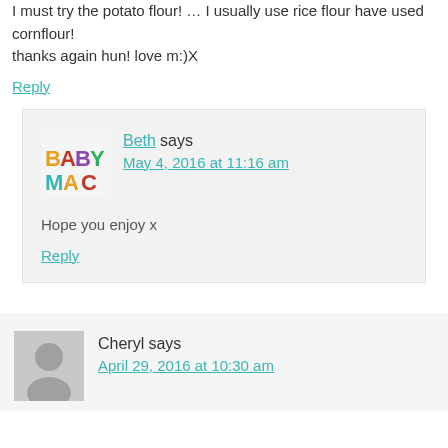I must try the potato flour! … I usually use rice flour have used cornflour!
thanks again hun! love m:)X
Reply
Beth says
May 4, 2016 at 11:16 am
Hope you enjoy x
Reply
Cheryl says
April 29, 2016 at 10:30 am